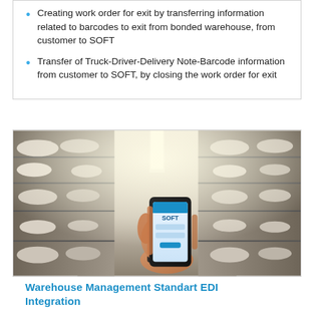Creating work order for exit by transferring information related to barcodes to exit from bonded warehouse, from customer to SOFT
Transfer of Truck-Driver-Delivery Note-Barcode information from customer to SOFT, by closing the work order for exit
[Figure (photo): Person holding a smartphone displaying 'SOFT' app in a warehouse aisle with shelving units in the background]
Warehouse Management Standart EDI Integration